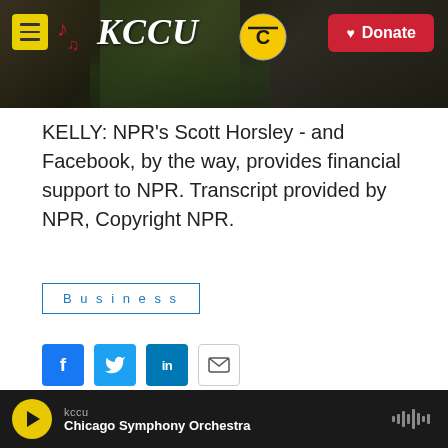[Figure (screenshot): KCCU radio station website header banner with hamburger menu, KCCU logo with musical notes, university logo, and red Donate button]
KELLY: NPR's Scott Horsley - and Facebook, by the way, provides financial support to NPR. Transcript provided by NPR, Copyright NPR.
Business
[Figure (infographic): Social sharing buttons: Facebook (blue), Twitter (blue), LinkedIn (blue), Email (white outline)]
[Figure (photo): Headshot photo of Scott Horsley, middle-aged man with gray hair, dark jacket, against dark background]
Scott Horsley
Scott Horsley is NPR's Chief Economis...
kccu  Chicago Symphony Orchestra